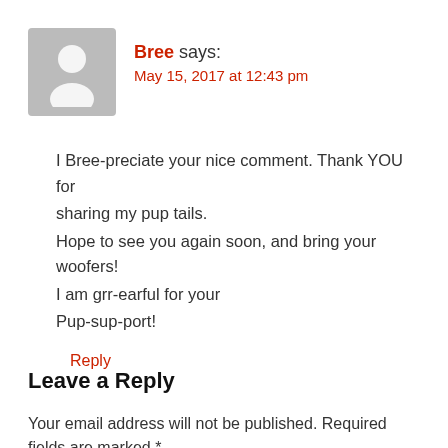[Figure (illustration): Generic gray avatar/person placeholder image]
Bree says:
May 15, 2017 at 12:43 pm
I Bree-preciate your nice comment. Thank YOU for sharing my pup tails.
Hope to see you again soon, and bring your woofers!
I am grr-earful for your
Pup-sup-port!
Reply
Leave a Reply
Your email address will not be published. Required fields are marked *